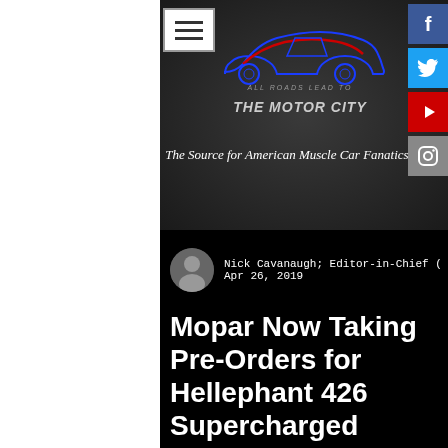[Figure (logo): The Motor City website logo with car illustration, 'ALL ROADS LEAD TO THE MOTOR CITY' text in red/grey, social media icons (Facebook, Twitter, YouTube, Instagram) on right, and hamburger menu icon on left]
The Source for American Muscle Car Fanatics
Nick Cavanaugh; Editor-in-Chief ( @Car_Sic
Apr 26, 2019
Mopar Now Taking Pre-Orders for Hellephant 426 Supercharged Crate Hemi